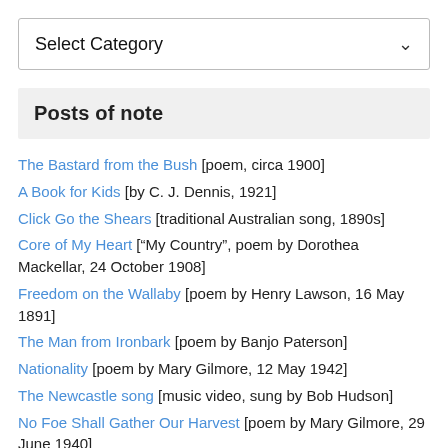[Figure (screenshot): Dropdown selector box labeled 'Select Category' with a chevron arrow on the right]
Posts of note
The Bastard from the Bush [poem, circa 1900]
A Book for Kids [by C. J. Dennis, 1921]
Click Go the Shears [traditional Australian song, 1890s]
Core of My Heart ["My Country", poem by Dorothea Mackellar, 24 October 1908]
Freedom on the Wallaby [poem by Henry Lawson, 16 May 1891]
The Man from Ironbark [poem by Banjo Paterson]
Nationality [poem by Mary Gilmore, 12 May 1942]
The Newcastle song [music video, sung by Bob Hudson]
No Foe Shall Gather Our Harvest [poem by Mary Gilmore, 29 June 1940]